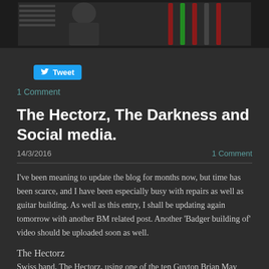[Figure (photo): A photograph of a person with guitars in the background, dark background.]
Tweet
1 Comment
The Hectorz, The Darkness and Social media.
14/3/2016
1 Comment
I've been meaning to update the blog for months now, but time has been scarce, and I have been especially busy with repairs as well as guitar building. As well as this entry, I shall be updating again tomorrow with another BM related post. Another 'Badger building of' video should be uploaded soon as well.
The Hectorz
Swiss band, The Hectorz, using one of the ten Guyton Brian May 'green' special guitars. Great to see one being used for something